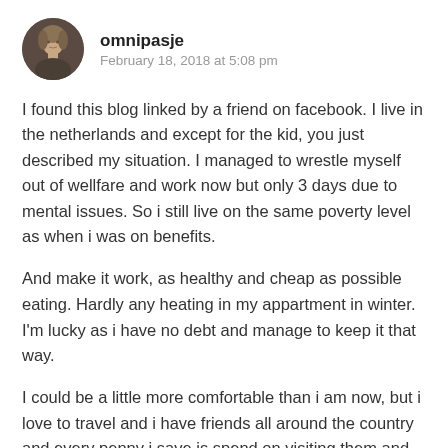[Figure (photo): Circular avatar photo of a person with light hair against a dark background]
omnipasje
February 18, 2018 at 5:08 pm
I found this blog linked by a friend on facebook. I live in the netherlands and except for the kid, you just described my situation. I managed to wrestle myself out of wellfare and work now but only 3 days due to mental issues. So i still live on the same poverty level as when i was on benefits.
And make it work, as healthy and cheap as possible eating. Hardly any heating in my appartment in winter. I'm lucky as i have no debt and manage to keep it that way.
I could be a little more comfortable than i am now, but i love to travel and i have friends all around the country and every penny i save is spend on visiting them and